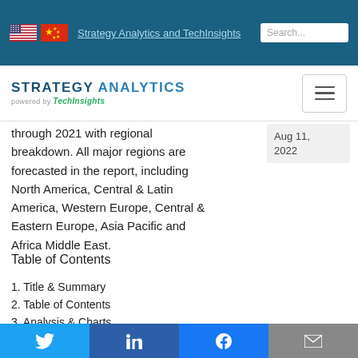Strategy Analytics and TechInsights
[Figure (logo): Strategy Analytics powered by TechInsights logo with hamburger menu]
through 2021 with regional breakdown. All major regions are forecasted in the report, including North America, Central & Latin America, Western Europe, Central & Eastern Europe, Asia Pacific and Africa Middle East.
Aug 11, 2022
Table of Contents
1. Title & Summary
2. Table of Contents
3. Analysis & Charts
4. Global 5G Smartphone Shipments by Vendor